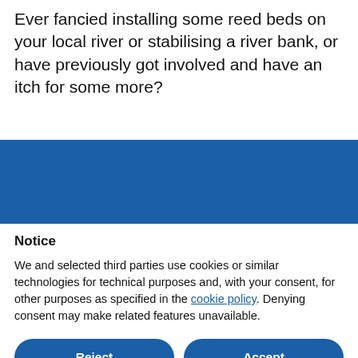Ever fancied installing some reed beds on your local river or stabilising a river bank, or have previously got involved and have an itch for some more?
[Figure (other): Solid dark blue rectangular band spanning full width]
Notice
We and selected third parties use cookies or similar technologies for technical purposes and, with your consent, for other purposes as specified in the cookie policy. Denying consent may make related features unavailable.
Reject
Accept
Learn more and customise